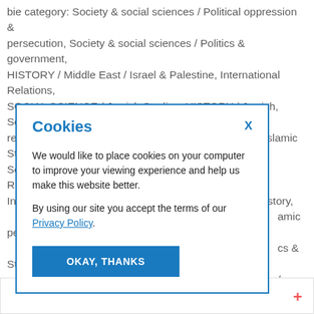bie category: Society & social sciences / Political oppression & persecution, Society & social sciences / Politics & government, HISTORY / Middle East / Israel & Palestine, International Relations, SOCIAL SCIENCE / Jewish Studies, HISTORY / Jewish, Social groups: religious groups & communities, SOCIAL SCIENCE / Islamic Studies, Society & social sciences / Terrorism, armed struggle, Religious Intolerance, Persecution & Conflict, Social & cultural history, Islamic people & ics & State, / General, onflict, Humanities & social sciences / ties & dies / General, gies, Society &
[Figure (screenshot): Cookie consent modal dialog with blue border. Title 'Cookies' in blue bold, X close button in blue, body text about placing cookies, Privacy Policy link, and 'OKAY, THANKS' button in blue.]